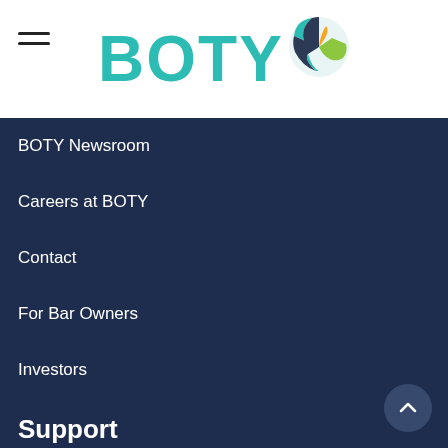[Figure (logo): BOTY logo with teal globe icon and teal BOTY text]
BOTY Newsroom
Careers at BOTY
Contact
For Bar Owners
Investors
Support
Help Center